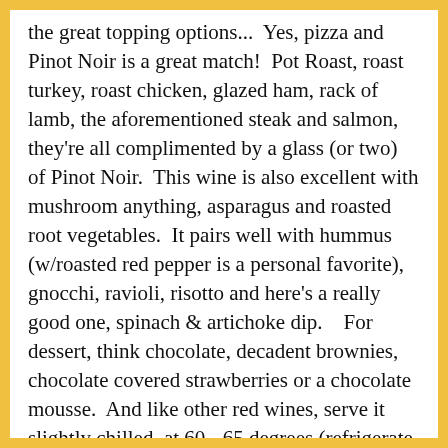the great topping options...  Yes, pizza and Pinot Noir is a great match!  Pot Roast, roast turkey, roast chicken, glazed ham, rack of lamb, the aforementioned steak and salmon, they're all complimented by a glass (or two) of Pinot Noir.  This wine is also excellent with mushroom anything, asparagus and roasted root vegetables.  It pairs well with hummus (w/roasted red pepper is a personal favorite), gnocchi, ravioli, risotto and here's a really good one, spinach & artichoke dip.    For dessert, think chocolate, decadent brownies, chocolate covered strawberries or a chocolate mousse.  And like other red wines, serve it slightly chilled, at 60 - 65 degrees (refrigerate for about 30 minutes before serving).
Bachelor on the Cheap